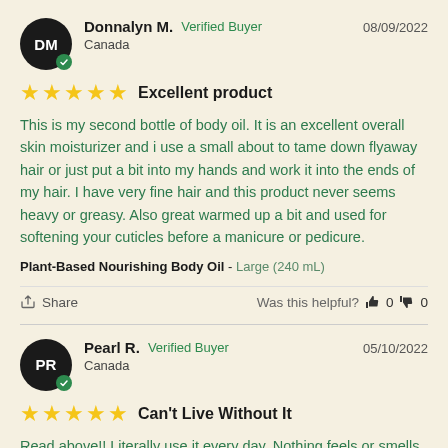Donnalyn M. — Verified Buyer — Canada — 08/09/2022
★★★★★ Excellent product
This is my second bottle of body oil. It is an excellent overall skin moisturizer and i use a small about to tame down flyaway hair or just put a bit into my hands and work it into the ends of my hair. I have very fine hair and this product never seems heavy or greasy. Also great warmed up a bit and used for softening your cuticles before a manicure or pedicure.
Plant-Based Nourishing Body Oil - Large (240 mL)
Share — Was this helpful? 0 0
Pearl R. — Verified Buyer — Canada — 05/10/2022
★★★★★ Can't Live Without It
Read above!! Literally use it every day. Nothing feels or smells